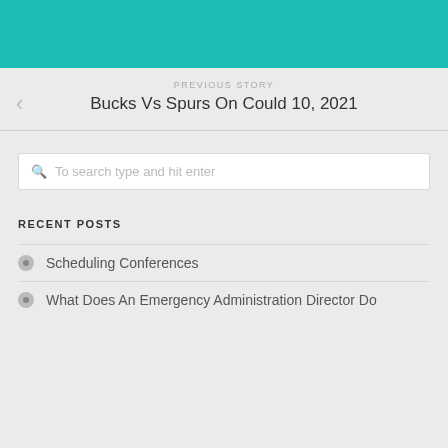[Figure (other): Teal/turquoise colored header banner]
PREVIOUS STORY
Bucks Vs Spurs On Could 10, 2021
To search type and hit enter
RECENT POSTS
Scheduling Conferences
What Does An Emergency Administration Director Do